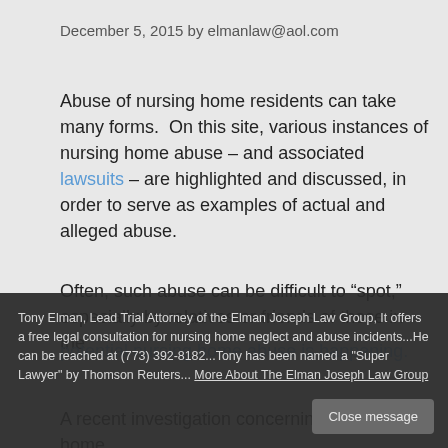December 5, 2015 by elmanlaw@aol.com
Abuse of nursing home residents can take many forms.  On this site, various instances of nursing home abuse – and associated lawsuits – are highlighted and discussed, in order to serve as examples of actual and alleged abuse.
Often, such abuse can be difficult to “spot,” especially by relatives or friends of those in the
Tony Elman, Lead Trial Attorney of the Elman Joseph Law Group, It offers a free legal consultation for nursing home neglect and abuse incidents...He can be reached at (773) 392-8182...Tony has been named a "Super Lawyer" by Thomson Reuters... More About The Elman Joseph Law Group
Close message
A recent investigation concerning nursing home